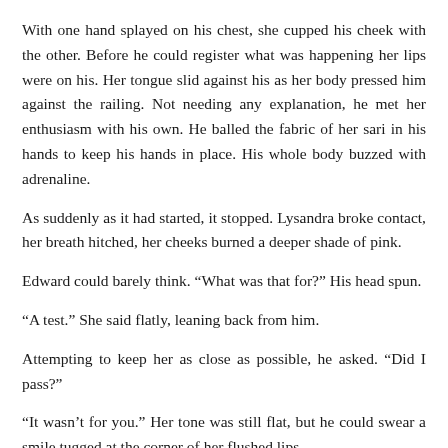With one hand splayed on his chest, she cupped his cheek with the other. Before he could register what was happening her lips were on his. Her tongue slid against his as her body pressed him against the railing. Not needing any explanation, he met her enthusiasm with his own. He balled the fabric of her sari in his hands to keep his hands in place. His whole body buzzed with adrenaline.
As suddenly as it had started, it stopped. Lysandra broke contact, her breath hitched, her cheeks burned a deeper shade of pink.
Edward could barely think. “What was that for?” His head spun.
“A test.” She said flatly, leaning back from him.
Attempting to keep her as close as possible, he asked. “Did I pass?”
“It wasn’t for you.” Her tone was still flat, but he could swear a smile tugged at the corner of her flushed lips.
Even in this disheveled state, she was ravishing. He leaned in for another kiss. He had to feel those lips again.